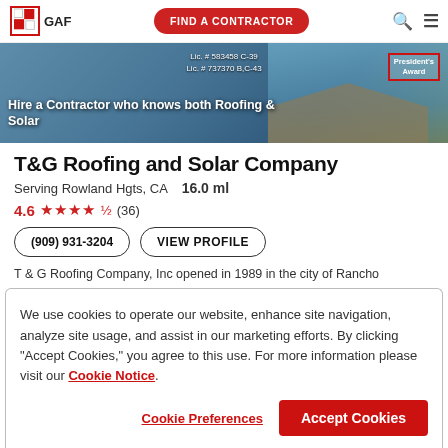GAF | FIND A CONTRACTOR
[Figure (photo): Banner image of a house with solar panels on the roof. Text overlay: 'Lic. # 583458 C-39 / Lic. # 737370 B,C-43' and 'Hire a Contractor who knows both Roofing & Solar'. A President's Award badge is visible in the top right corner.]
T&G Roofing and Solar Company
Serving Rowland Hgts, CA   16.0 ml
4.6 ★★★★½ (36)
(909) 931-3204   VIEW PROFILE
T & G Roofing Company, Inc opened in 1989 in the city of Rancho
We use cookies to operate our website, enhance site navigation, analyze site usage, and assist in our marketing efforts. By clicking "Accept Cookies," you agree to this use. For more information please visit our Cookie Notice.
Cookie Preferences   Accept Cookies